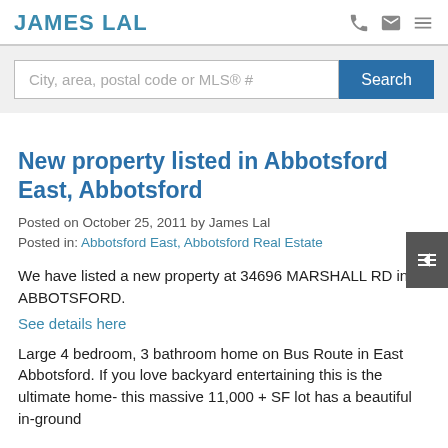JAMES LAL
[Figure (screenshot): Search bar with placeholder text 'City, area, postal code or MLS® #' and a blue Search button]
New property listed in Abbotsford East, Abbotsford
Posted on October 25, 2011 by James Lal
Posted in: Abbotsford East, Abbotsford Real Estate
We have listed a new property at 34696 MARSHALL RD in ABBOTSFORD.
See details here
Large 4 bedroom, 3 bathroom home on Bus Route in East Abbotsford. If you love backyard entertaining this is the ultimate home- this massive 11,000 + SF lot has a beautiful in-ground